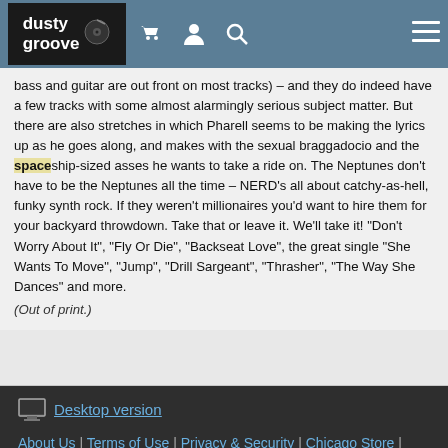dusty groove
bass and guitar are out front on most tracks) – and they do indeed have a few tracks with some almost alarmingly serious subject matter. But there are also stretches in which Pharell seems to be making the lyrics up as he goes along, and makes with the sexual braggadocio and the spaceship-sized asses he wants to take a ride on. The Neptunes don't have to be the Neptunes all the time – NERD's all about catchy-as-hell, funky synth rock. If they weren't millionaires you'd want to hire them for your backyard throwdown. Take that or leave it. We'll take it! "Don't Worry About It", "Fly Or Die", "Backseat Love", the great single "She Wants To Move", "Jump", "Drill Sargeant", "Thrasher", "The Way She Dances" and more.
(Out of print.)
Desktop version | About Us | Terms of Use | Privacy & Security | Chicago Store | Requests & Suggestions | Comments | Contact Us | © 1996-2022, Dusty Groove 1120 N Ashland Ave, Chicago, IL 60622 USA dg@dustygroove.com | 773-342-5800 | Dusty Groove is a registered trademark — read more.